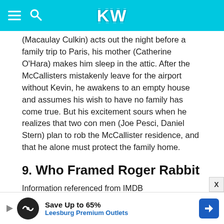KW
(Macaulay Culkin) acts out the night before a family trip to Paris, his mother (Catherine O'Hara) makes him sleep in the attic. After the McCallisters mistakenly leave for the airport without Kevin, he awakens to an empty house and assumes his wish to have no family has come true. But his excitement sours when he realizes that two con men (Joe Pesci, Daniel Stern) plan to rob the McCallister residence, and that he alone must protect the family home.
9. Who Framed Roger Rabbit
Information referenced from IMDB
Release date: June 22, 1988 (USA)
Director: Robert Zemeckis